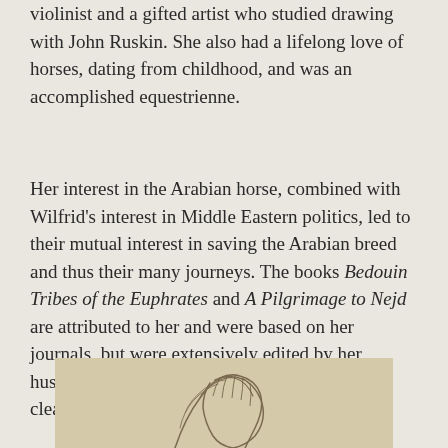violinist and a gifted artist who studied drawing with John Ruskin. She also had a lifelong love of horses, dating from childhood, and was an accomplished equestrienne.
Her interest in the Arabian horse, combined with Wilfrid's interest in Middle Eastern politics, led to their mutual interest in saving the Arabian breed and thus their many journeys. The books Bedouin Tribes of the Euphrates and A Pilgrimage to Nejd are attributed to her and were based on her journals, but were extensively edited by her husband. Her own voice comes through more clearly in her published journals.
[Figure (illustration): Sketch illustration of a person's head/portrait, partially visible at the bottom of the page, drawn in pencil or ink style on a beige/tan background.]